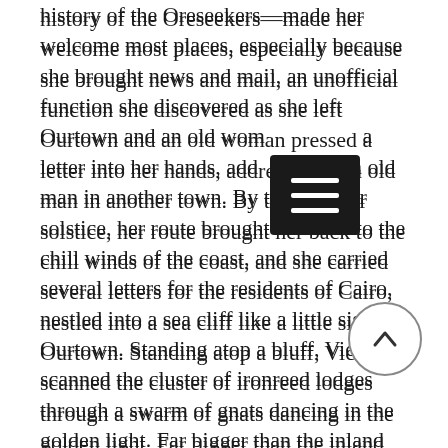history of the Oreseekers—made her welcome most places, especially because she brought news and mail, an unofficial function she discovered as she left Ourtown and an old woman pressed a letter into her hands, addressed to an old man in another town. By the summer solstice, her route brought her back to the chill winds of the coast, and she carried several letters for the residents of Cairo, nestled into a sea cliff like a little sister of Ourtown. Standing atop a bluff, Vic scanned the cluster of ironreed lodges through a swarm of gnats dancing in the golden light. Far bigger than the inland villages, the town boasted a fleet of fishing boats and a school and full-time teacher. As she came down among the lodges, townspeople waved cheerily at her yellow sash and pointed her toward the schoolhouse.
“You’ll find Samson still there,” said a woman slicing fish. “Don’t let him bother